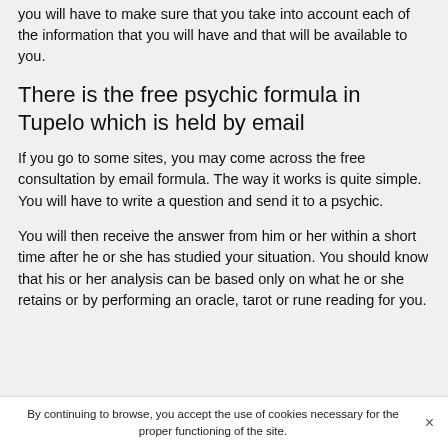you will have to make sure that you take into account each of the information that you will have and that will be available to you.
There is the free psychic formula in Tupelo which is held by email
If you go to some sites, you may come across the free consultation by email formula. The way it works is quite simple. You will have to write a question and send it to a psychic.
You will then receive the answer from him or her within a short time after he or she has studied your situation. You should know that his or her analysis can be based only on what he or she retains or by performing an oracle, tarot or rune reading for you.
By continuing to browse, you accept the use of cookies necessary for the proper functioning of the site. ×